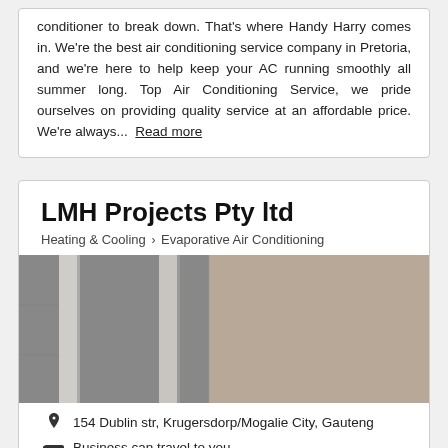conditioner to break down. That's where Handy Harry comes in. We're the best air conditioning service company in Pretoria, and we're here to help keep your AC running smoothly all summer long. Top Air Conditioning Service, we pride ourselves on providing quality service at an affordable price. We're always... Read more
LMH Projects Pty ltd
Heating & Cooling > Evaporative Air Conditioning
[Figure (photo): Photo of an air conditioning unit or wall-mounted equipment in a room with beige/tan walls]
154 Dublin str, Krugersdorp/Mogalie City, Gauteng
Business can travel to you
Awards: #9 Most Popular in Bojanala District for 2021
Request quote